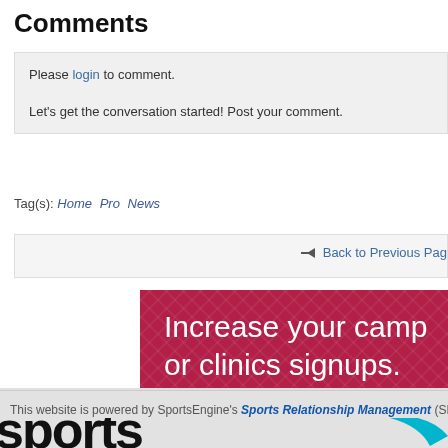Comments
Please login to comment.

Let's get the conversation started! Post your comment.
Tag(s): Home  Pro  News
◆ Back to Previous Page
[Figure (illustration): Red promotional banner with diamond pattern reading 'Increase your camp or clinics signups.']
This website is powered by SportsEngine's Sports Relationship Management (SRM) sof...
[Figure (logo): Partial SportsEngine logo in black with teal swoosh, bottom of page]